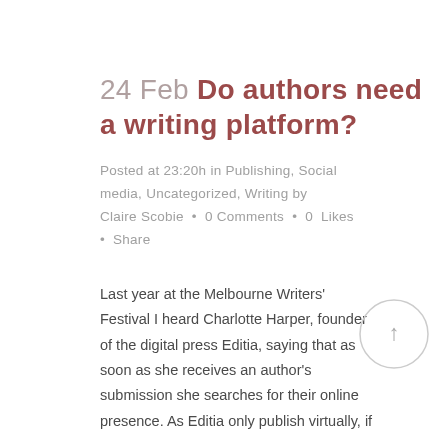24 Feb Do authors need a writing platform?
Posted at 23:20h in Publishing, Social media, Uncategorized, Writing by Claire Scobie • 0 Comments • 0 Likes • Share
Last year at the Melbourne Writers' Festival I heard Charlotte Harper, founder of the digital press Editia, saying that as soon as she receives an author's submission she searches for their online presence. As Editia only publish virtually, if